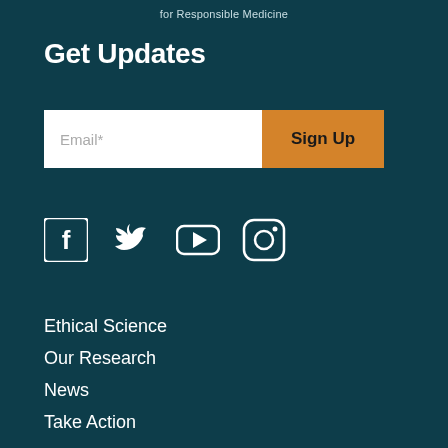for Responsible Medicine
Get Updates
[Figure (infographic): Email sign-up form with white input field labeled 'Email*' and orange 'Sign Up' button]
[Figure (infographic): Social media icons: Facebook, Twitter, YouTube, Instagram — white icons on dark teal background]
Ethical Science
Our Research
News
Take Action
About Us
Events